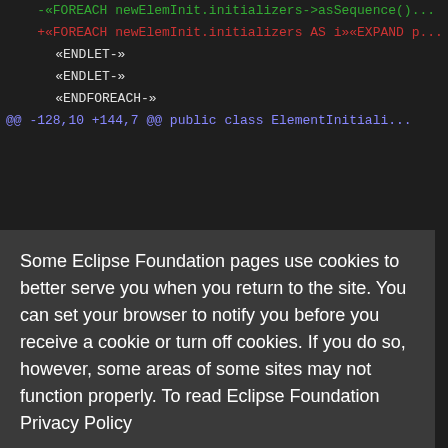[Figure (screenshot): Code diff view showing template/Acceleo code with red (removed) and green (added) lines on dark background, partially obscured by a cookie consent overlay dialog]
Some Eclipse Foundation pages use cookies to better serve you when you return to the site. You can set your browser to notify you before you receive a cookie or turn off cookies. If you do so, however, some areas of some sites may not function properly. To read Eclipse Foundation Privacy Policy
click here.